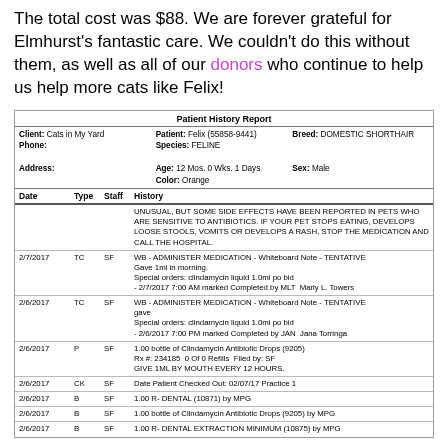The total cost was $88. We are forever grateful for Elmhurst's fantastic care. We couldn't do this without them, as well as all of our donors who continue to help us help more cats like Felix!
| Date | Type | Staff | History |
| --- | --- | --- | --- |
|  |  |  | UNUSUAL, BUT SOME SIDE EFFECTS HAVE BEEN REPORTED IN PETS WHO ARE SENSITIVE TO ANTIBIOTICS. IF YOUR PET STOPS EATING, DEVELOPS LOOSE STOOLS, VOMITS OR DEVELOPS A RASH, STOP THE MEDICATION AND CALL THE HOSPITAL. |
| 2/7/2017 | TC | SF | WB - ADMINISTER MEDICATION - Whiteboard Note - TENTATIVE
Gave 1ml in morning.
Special orders: clindamycin liquid 1.0ml po bid
- 2/7/2017 7:00 AM marked Completed by MLT  Marly L. Towers |
| 2/6/2017 | TC | SF | WB - ADMINISTER MEDICATION - Whiteboard Note - TENTATIVE
gave
Special orders: clindamycin liquid 1.0ml po bid
- 2/6/2017 7:00 PM marked Completed by JAN  Jana Torringa |
| 2/6/2017 | P | SF | 1.00 bottle of Clindamycin Antibiotic Drops (9205)
Rx #: 234185  0 Of 0 Refills  Filed by: SF
GIVE 1ML BY MOUTH EVERY 12 HOURS. |
| 2/6/2017 | CK | SF | Date Patient Checked Out: 02/07/17 Practice 1 |
| 2/6/2017 | B | SF | 1.00 R- DENTAL (10871) by MPG |
| 2/6/2017 | B | SF | 1.00 bottle of Clindamycin Antibiotic Drops (9205) by MPG |
| 2/6/2017 | B | SF | 1.00 R- DENTAL EXTRACTION MINIMUM (10875) by MPG |